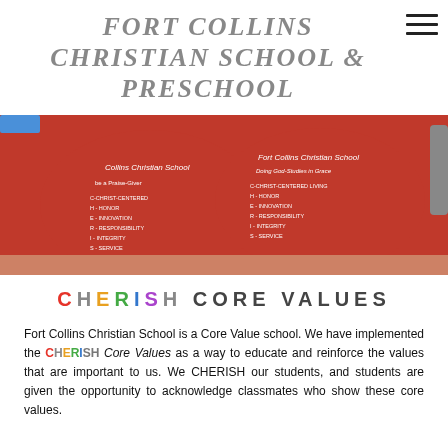Fort Collins Christian School & Preschool
[Figure (photo): Children wearing red Fort Collins Christian School t-shirts, seen from behind, showing the CHERISH core values printed on the shirts]
CHERISH CORE VALUES
Fort Collins Christian School is a Core Value school. We have implemented the CHERISH Core Values as a way to educate and reinforce the values that are important to us. We CHERISH our students, and students are given the opportunity to acknowledge classmates who show these core values.